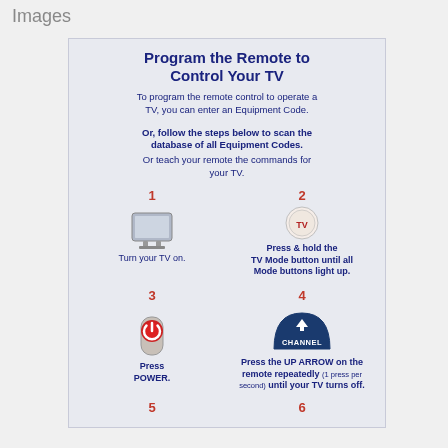Images
[Figure (infographic): Step-by-step instruction card: 'Program the Remote to Control Your TV' with 6 numbered steps showing icons for TV, TV Mode button, Power button, Channel UP arrow, and more steps below.]